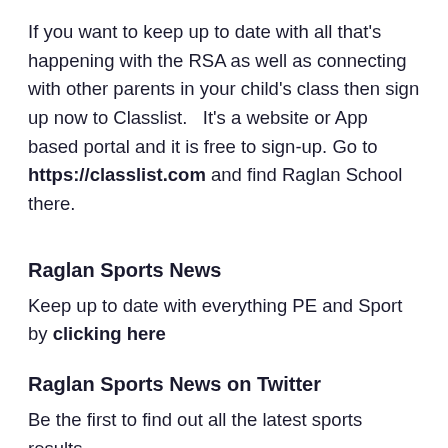If you want to keep up to date with all that's happening with the RSA as well as connecting with other parents in your child's class then sign up now to Classlist.   It's a website or App based portal and it is free to sign-up. Go to https://classlist.com and find Raglan School there.
Raglan Sports News
Keep up to date with everything PE and Sport by clicking here
Raglan Sports News on Twitter
Be the first to find out all the latest sports results